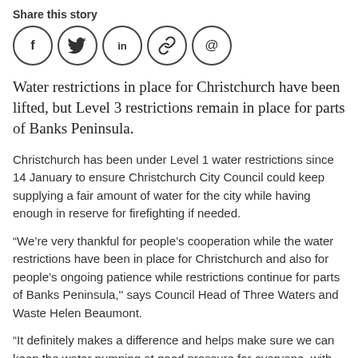Share this story
[Figure (illustration): Row of five social media sharing icons in circles: Facebook (f), Twitter (bird), LinkedIn (in), Link/chain, Email (@)]
Water restrictions in place for Christchurch have been lifted, but Level 3 restrictions remain in place for parts of Banks Peninsula.
Christchurch has been under Level 1 water restrictions since 14 January to ensure Christchurch City Council could keep supplying a fair amount of water for the city while having enough in reserve for firefighting if needed.
“We’re very thankful for people’s cooperation while the water restrictions have been in place for Christchurch and also for people’s ongoing patience while restrictions continue for parts of Banks Peninsula,'' says Council Head of Three Waters and Waste Helen Beaumont.
“It definitely makes a difference and helps make sure we can keep the water pumping at good pressure for everyone, with